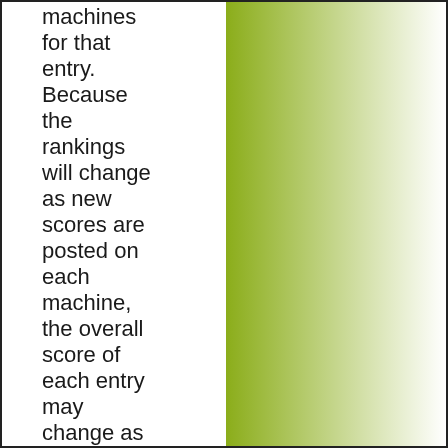machines for that entry. Because the rankings will change as new scores are posted on each machine, the overall score of each entry may change as the qualifying rounds progress.

It is important to note that
[Figure (illustration): A vertical green gradient bar on the right side of the page, transitioning from olive/yellow-green on the left edge to white on the right edge.]